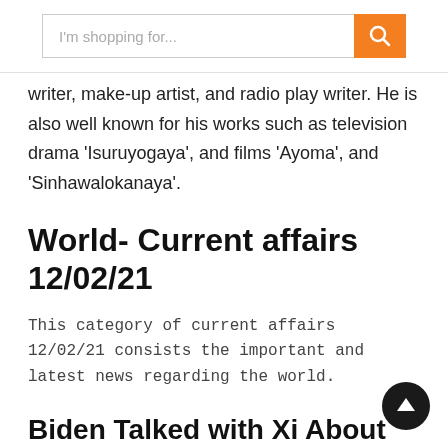I'm shopping for...
writer, make-up artist, and radio play writer. He is also well known for his works such as television drama 'Isuruyogaya', and films 'Ayoma', and 'Sinhawalokanaya'.
World- Current affairs 12/02/21
This category of current affairs 12/02/21 consists the important and latest news regarding the world.
Biden Talked with Xi About Concerns Over China's Coercive